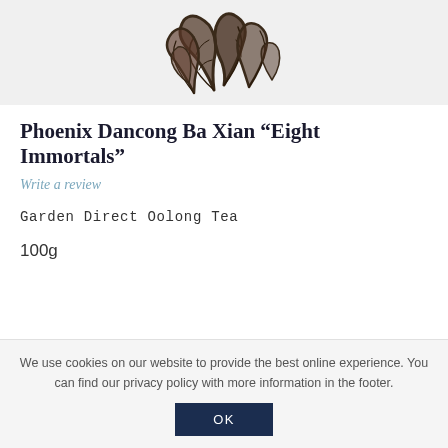[Figure (photo): Dried oolong tea leaves photographed against a light grey background, showing dark twisted and curled leaf forms.]
Phoenix Dancong Ba Xian “Eight Immortals”
Write a review
Garden Direct Oolong Tea
100g
We use cookies on our website to provide the best online experience. You can find our privacy policy with more information in the footer.
OK